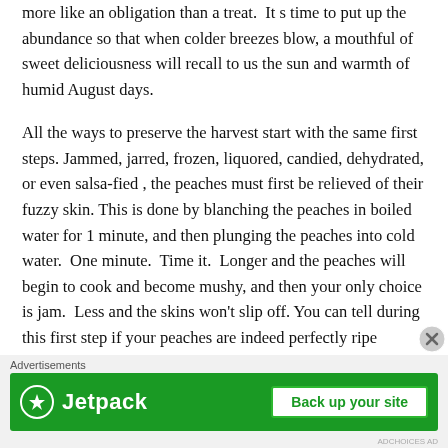more like an obligation than a treat.  It s time to put up the abundance so that when colder breezes blow, a mouthful of sweet deliciousness will recall to us the sun and warmth of humid August days.
All the ways to preserve the harvest start with the same first steps.  Jammed, jarred, frozen, liquored, candied, dehydrated, or even salsa-fied , the peaches must first be relieved of their fuzzy skin.  This is done by blanching the peaches in boiled water for 1 minute, and then plunging the peaches into cold water.  One minute.  Time it.  Longer and the peaches will begin to cook and become mushy, and then your only choice is jam.  Less and the skins won’t slip off.  You can tell during this first step if your peaches are indeed perfectly ripe because if they are, the skins will slide off leaving smooth peachy flesh underneath.  If they are a bit under-ripe, the skin will peel off taking some of the flesh with it, and the peach wi
Advertisements
[Figure (other): Jetpack advertisement banner with green background showing Jetpack logo and 'Back up your site' button]